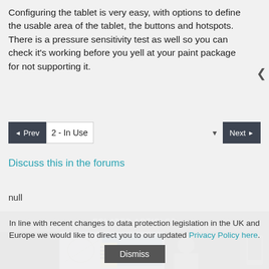Configuring the tablet is very easy, with options to define the usable area of the tablet, the buttons and hotspots. There is a pressure sensitivity test as well so you can check it's working before you yell at your paint package for not supporting it.
◄ Prev   2 - In Use ▾   Next ►
Discuss this in the forums
null
RELATED ARTICLES
[Figure (photo): Article thumbnail images strip]
In line with recent changes to data protection legislation in the UK and Europe we would like to direct you to our updated Privacy Policy here.
Dismiss